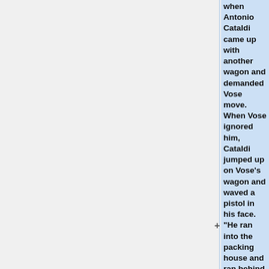when Antonio Cataldi came up with another wagon and demanded Vose move.  When Vose ignored him, Cataldi jumped up on Vose's wagon and waved a pistol in his face.  "He ran into the packing house and ran behind the counter." William Stegner, engineer for the plant, and Mr. Rogers, foreman, saw the episode. Cataldi